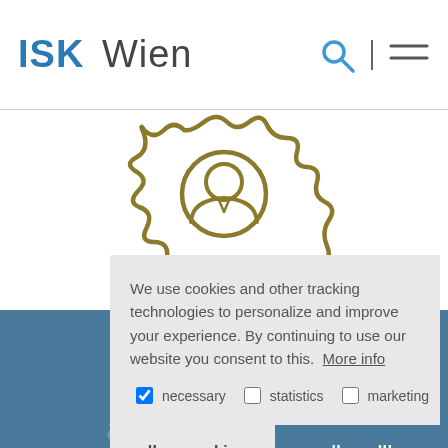ISK Wien
[Figure (illustration): Gold/olive colored icon of a person (user/profile avatar) inside a gear-like decorative border with wavy ornamental edges, representing a user account or profile settings icon.]
We use cookies and other tracking technologies to personalize and improve your experience. By continuing to use our website you consent to this. More info
necessary   statistics   marketing
allow cookies   allow all!